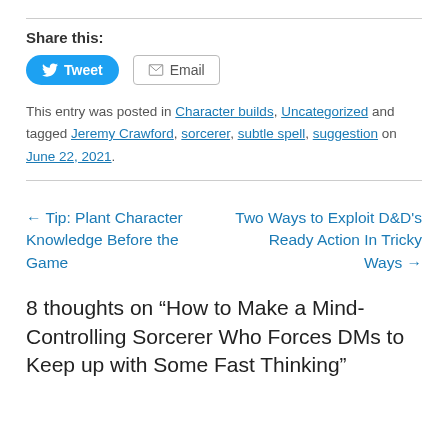Share this:
Tweet  Email
This entry was posted in Character builds, Uncategorized and tagged Jeremy Crawford, sorcerer, subtle spell, suggestion on June 22, 2021.
← Tip: Plant Character Knowledge Before the Game
Two Ways to Exploit D&D's Ready Action In Tricky Ways →
8 thoughts on “How to Make a Mind-Controlling Sorcerer Who Forces DMs to Keep up with Some Fast Thinking”